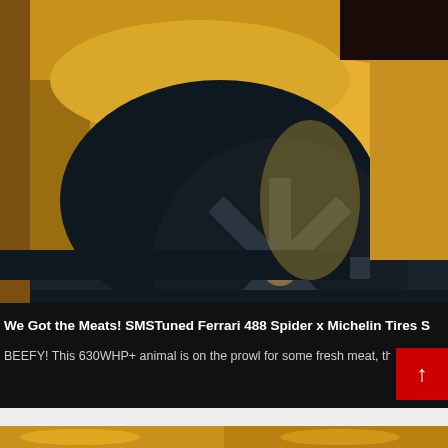[Figure (photo): Close-up photo of a yellow Ferrari 488 Spider showing the rear wheel with dark multi-spoke alloy rim and wide tire, against a black ground and yellow car body]
We Got the Meats! SMSTuned Ferrari 488 Spider x Michelin Tires S
BEEFY! This 630WHP+ animal is on the prowl for some fresh meat, this Ferrar
[Figure (photo): Thumbnail strip of yellow Ferrari at bottom of page, two partial thumbnails visible]